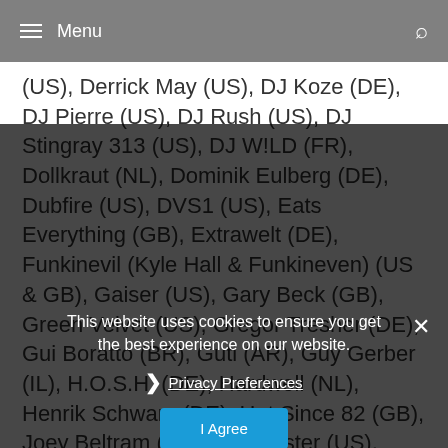≡ Menu
(US), Derrick May (US), DJ Koze (DE), DJ Pierre (US), DJ Rush (US), DJ Stingray 313 (US), DJ W!LD (FR), Dollkraut (NL), Dominik Eulberg (DE), Dubfire (US), DVS1 (US), Eats Everything (GB), Extrawelt (DE), Funkinevil (Kyle Hall & Funkineven) (US & GB), Gaiser (US), Gary Beck (GB), Green Velvet (US), Gregor Tresher (DE), Gui Boratto (BR), Guti (AR), Guy Gerber (IL), H.O.S.H. (DE), Hardwell (NL), Henrik Schwarz (DE), Hot Since 82 (GB), Joey Beltram (US), Jon Hester (US), Joris Voorn (NL), Joseph Capriati (IT), Julian Jewell (FR), Karenn (GB), KiNK (BG), Kollektiv Turmstrasse (DE), Kolsch (DK), Kryder (GB), Laurent Garnier (FR), Loco Dice (DE), Lunice (CA), Marco Alaimo (US), ...
This website uses cookies to ensure you get the best experience on our website.
Privacy Preferences
I Agree